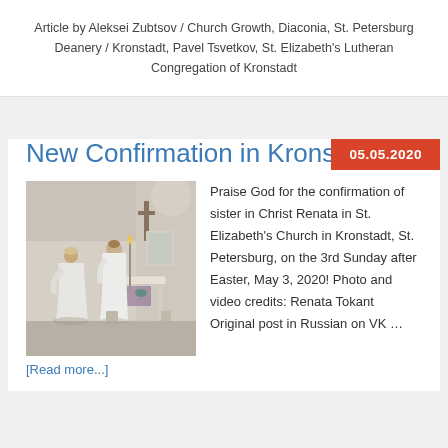Article by Aleksei Zubtsov / Church Growth, Diaconia, St. Petersburg Deanery / Kronstadt, Pavel Tsvetkov, St. Elizabeth's Lutheran Congregation of Kronstadt
05.05.2020
New Confirmation in Kronstadt
[Figure (photo): Photo of a church confirmation ceremony inside St. Elizabeth's Church in Kronstadt. Two figures in white robes are visible near an altar with a cross and candles.]
Praise God for the confirmation of sister in Christ Renata in St. Elizabeth's Church in Kronstadt, St. Petersburg, on the 3rd Sunday after Easter, May 3, 2020! Photo and video credits: Renata Tokant Original post in Russian on VK …
[Read more...]